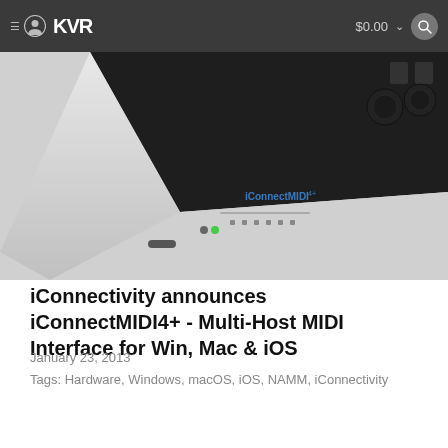KVR $0.00
[Figure (photo): Photo of the iConnectMIDI4+ hardware device — a silver and black MIDI interface box with ports and LED indicators visible on the top and rear.]
iConnectivity announces iConnectMIDI4+ - Multi-Host MIDI Interface for Win, Mac & iOS
January 23, 2013
Tags: Hardware, Windows, macOS, iOS, NAMM, iConnectivity